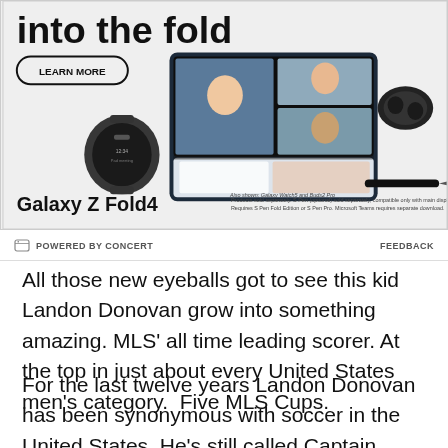[Figure (illustration): Samsung Galaxy Z Fold4 advertisement showing the device open with a video call on screen, a Galaxy Watch5, Buds2 Pro, and S Pen. Text reads 'into the fold' with a LEARN MORE button. Bottom text: 'Galaxy Z Fold4' and fine print about products sold separately.]
POWERED BY CONCERT    FEEDBACK
All those new eyeballs got to see this kid Landon Donovan grow into something amazing. MLS' all time leading scorer. At the top in just about every United States men's category.  Five MLS Cups.
For the last twelve years Landon Donovan has been synonymous with soccer in the United States. He's still called Captain America by Spanish announce teams they cite and recognize the new band for the US. D...